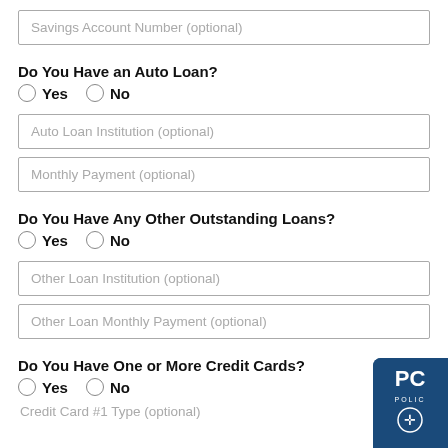Savings Account Number (optional)
Do You Have an Auto Loan?
Yes   No
Auto Loan Institution (optional)
Monthly Payment (optional)
Do You Have Any Other Outstanding Loans?
Yes   No
Other Loan Institution (optional)
Other Loan Monthly Payment (optional)
Do You Have One or More Credit Cards?
Yes   No
Credit Card #1 Type (optional)